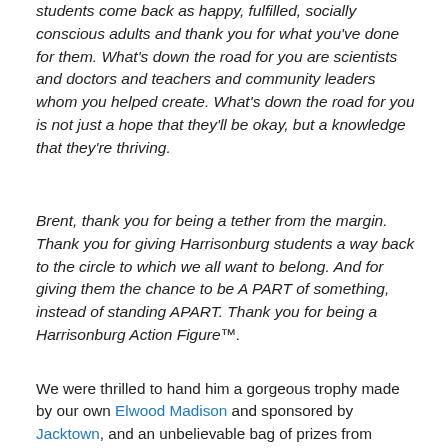students come back as happy, fulfilled, socially conscious adults and thank you for what you've done for them. What's down the road for you are scientists and doctors and teachers and community leaders whom you helped create. What's down the road for you is not just a hope that they'll be okay, but a knowledge that they're thriving.
Brent, thank you for being a tether from the margin. Thank you for giving Harrisonburg students a way back to the circle to which we all want to belong. And for giving them the chance to be A PART of something, instead of standing APART. Thank you for being a Harrisonburg Action Figure™.
We were thrilled to hand him a gorgeous trophy made by our own Elwood Madison and sponsored by Jacktown, and an unbelievable bag of prizes from Beyond...